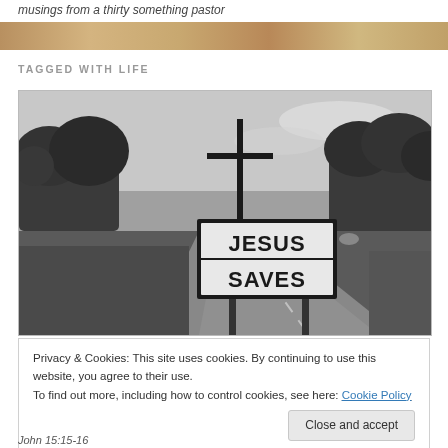musings from a thirty something pastor
TAGGED WITH LIFE
[Figure (photo): Black and white photograph of a roadside 'JESUS SAVES' sign with a cross above it, next to a rural highway with trees in the background]
Privacy & Cookies: This site uses cookies. By continuing to use this website, you agree to their use.
To find out more, including how to control cookies, see here: Cookie Policy
Close and accept
John 15:15-16